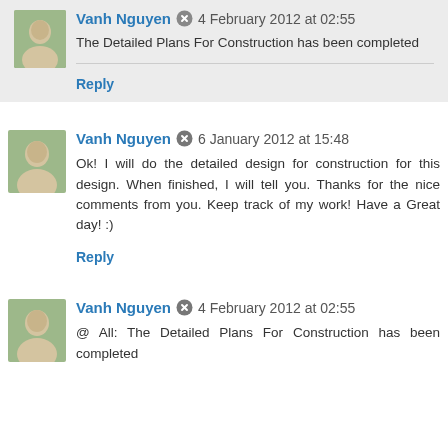Vanh Nguyen · 4 February 2012 at 02:55
The Detailed Plans For Construction has been completed
Reply
Vanh Nguyen · 6 January 2012 at 15:48
Ok! I will do the detailed design for construction for this design. When finished, I will tell you. Thanks for the nice comments from you. Keep track of my work! Have a Great day! :)
Reply
Vanh Nguyen · 4 February 2012 at 02:55
@ All: The Detailed Plans For Construction has been completed